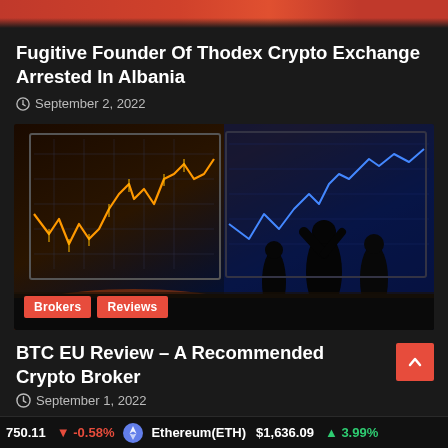[Figure (photo): Partial top image from previous article, showing a red/dark background strip]
Fugitive Founder Of Thodex Crypto Exchange Arrested In Albania
September 2, 2022
[Figure (photo): Cryptocurrency trading setup with multiple monitors showing candlestick charts in blue/orange lighting, silhouettes of people with raised arms. Tags: Brokers, Reviews]
BTC EU Review – A Recommended Crypto Broker
September 1, 2022
750.11  -0.58%  Ethereum(ETH)  $1,636.09  3.99%